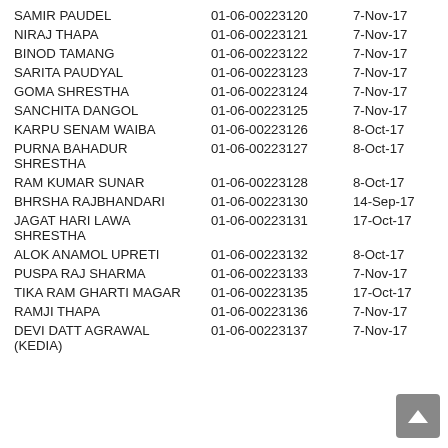| Name | ID | Date |
| --- | --- | --- |
| SAMIR PAUDEL | 01-06-00223120 | 7-Nov-17 |
| NIRAJ THAPA | 01-06-00223121 | 7-Nov-17 |
| BINOD TAMANG | 01-06-00223122 | 7-Nov-17 |
| SARITA PAUDYAL | 01-06-00223123 | 7-Nov-17 |
| GOMA SHRESTHA | 01-06-00223124 | 7-Nov-17 |
| SANCHITA DANGOL | 01-06-00223125 | 7-Nov-17 |
| KARPU SENAM WAIBA | 01-06-00223126 | 8-Oct-17 |
| PURNA BAHADUR SHRESTHA | 01-06-00223127 | 8-Oct-17 |
| RAM KUMAR SUNAR | 01-06-00223128 | 8-Oct-17 |
| BHRSHA RAJBHANDARI | 01-06-00223130 | 14-Sep-17 |
| JAGAT HARI LAWA SHRESTHA | 01-06-00223131 | 17-Oct-17 |
| ALOK ANAMOL UPRETI | 01-06-00223132 | 8-Oct-17 |
| PUSPA RAJ SHARMA | 01-06-00223133 | 7-Nov-17 |
| TIKA RAM GHARTI MAGAR | 01-06-00223135 | 17-Oct-17 |
| RAMJI THAPA | 01-06-00223136 | 7-Nov-17 |
| DEVI DATT AGRAWAL (KEDIA) | 01-06-00223137 | 7-Nov-17 |